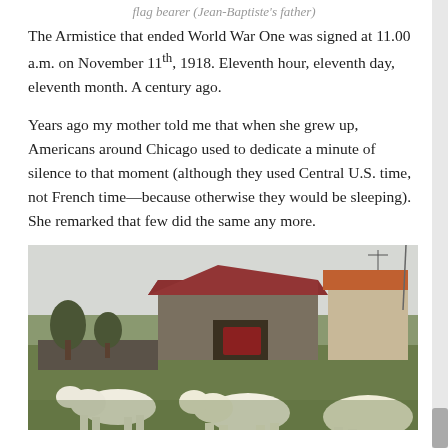flag bearer (Jean-Baptiste's father)
The Armistice that ended World War One was signed at 11.00 a.m. on November 11th, 1918. Eleventh hour, eleventh day, eleventh month. A century ago.
Years ago my mother told me that when she grew up, Americans around Chicago used to dedicate a minute of silence to that moment (although they used Central U.S. time, not French time—because otherwise they would be sleeping). She remarked that few did the same any more.
[Figure (photo): A rural farm scene with stone barn buildings and white cattle grazing in a green field, overcast sky, trees in background.]